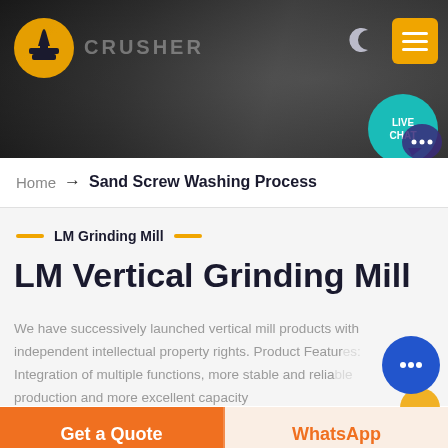CRUSHER — LM Grinding Mill website header with logo, moon icon, menu button, and Live Chat bubble
Home → Sand Screw Washing Process
LM Grinding Mill
LM Vertical Grinding Mill
We have successively launched vertical mill products with independent intellectual property rights. Product Features: Integration of multiple functions, more stable and reliable production and more excellent capacity
Get a Quote
WhatsApp